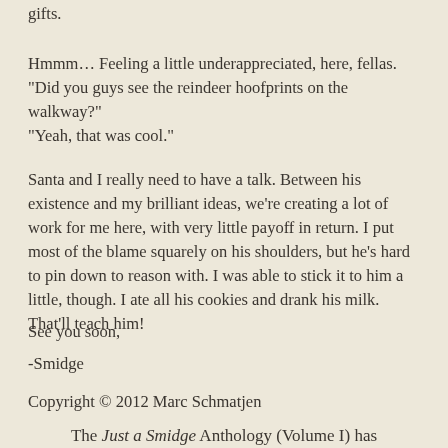gifts.
Hmmm… Feeling a little underappreciated, here, fellas.
"Did you guys see the reindeer hoofprints on the walkway?"
"Yeah, that was cool."
Santa and I really need to have a talk. Between his existence and my brilliant ideas, we're creating a lot of work for me here, with very little payoff in return. I put most of the blame squarely on his shoulders, but he's hard to pin down to reason with. I was able to stick it to him a little, though. I ate all his cookies and drank his milk. That'll teach him!
See you soon,
-Smidge
Copyright © 2012 Marc Schmatjen
The Just a Smidge Anthology (Volume I) has